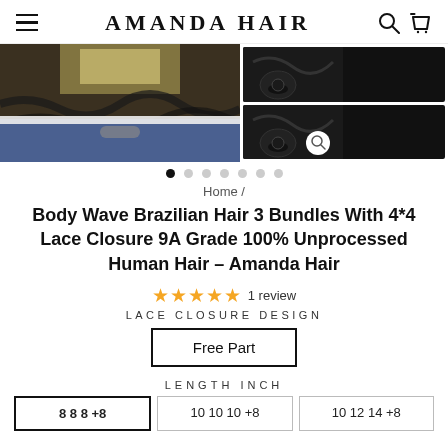AMANDA HAIR
[Figure (photo): Product photos: left shows a woman with wavy Brazilian hair extensions, center and right show close-up thumbnails of hair bundle texture]
Home /
Body Wave Brazilian Hair 3 Bundles With 4*4 Lace Closure 9A Grade 100% Unprocessed Human Hair – Amanda Hair
★★★★★ 1 review
LACE CLOSURE DESIGN
Free Part
LENGTH INCH
8 8 8 +8
10 10 10 +8
10 12 14 +8